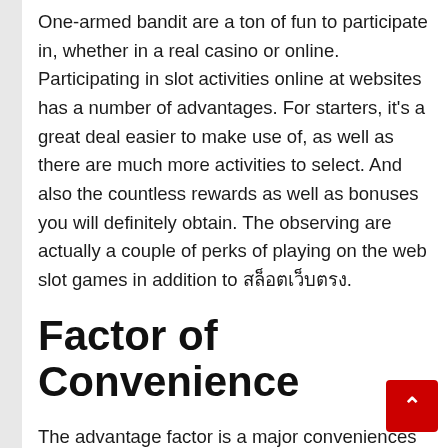One-armed bandit are a ton of fun to participate in, whether in a real casino or online. Participating in slot activities online at websites has a number of advantages. For starters, it's a great deal easier to make use of, as well as there are much more activities to select. And also the countless rewards as well as bonuses you will definitely obtain. The observing are actually a couple of perks of playing on the web slot games in addition to สล็อตเว็บตรง.
Factor of Convenience
The advantage factor is a major conveniences of participating in on-line slot video games